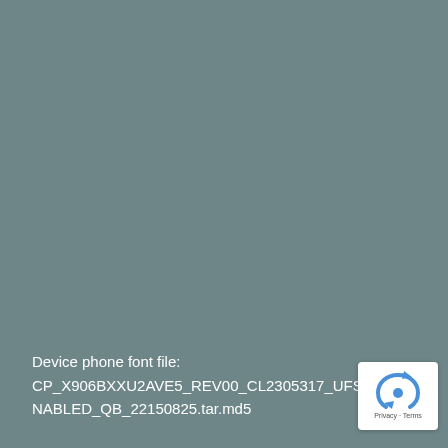[Figure (other): Solid teal-grey background filling most of the page]
Device phone font file:
CP_X906BXXU2AVE5_REV00_CL2305317_UFS_SS
NABLED_QB_22150825.tar.md5
[Figure (other): reCAPTCHA badge with blue arrow logo and 'Privacy - Terms' text]